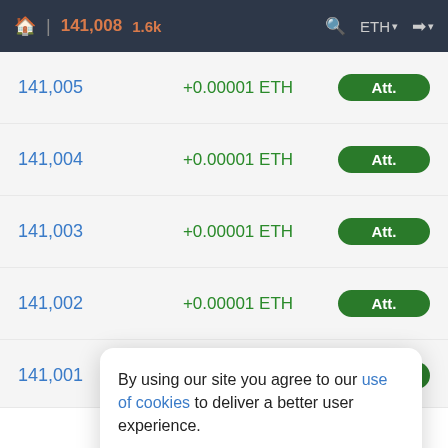🏠 | 141,008  1.6k    🔍  ETH▾  ➡▾
| Block | Amount | Type |
| --- | --- | --- |
| 141,005 | +0.00001 ETH | Att. |
| 141,004 | +0.00001 ETH | Att. |
| 141,003 | +0.00001 ETH | Att. |
| 141,002 | +0.00001 ETH | Att. |
| 141,001 | +0.00001 ETH | Att. |
| 141,000 | +0.00001 ETH | Att. |
| 14... | +0.00001 ETH | Att. |
By using our site you agree to our use of cookies to deliver a better user experience.
Only Necessary | Accept All Cookies
< 1 of 10 >